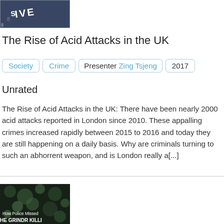[Figure (photo): Partial image of a dark blue sign with white text and a number 8, partially cropped at the top]
The Rise of Acid Attacks in the UK
Society  Crime  Presenter Zing Tsjeng  2017
Unrated
The Rise of Acid Attacks in the UK: There have been nearly 2000 acid attacks reported in London since 2010. These appalling crimes increased rapidly between 2015 to 2016 and today they are still happening on a daily basis. Why are criminals turning to such an abhorrent weapon, and is London really a[...]
[Figure (photo): Dark green bokeh background image with white text overlay reading 'How Police Missed THE GRINDR KILLI']